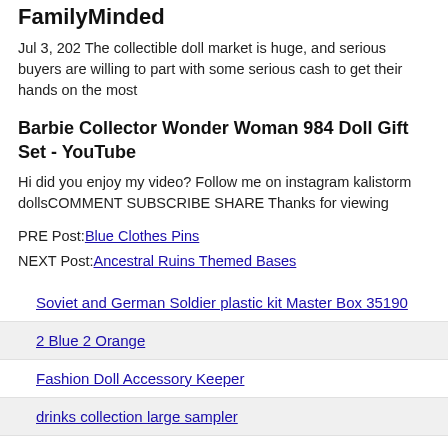FamilyMinded
Jul 3, 202 The collectible doll market is huge, and serious buyers are willing to part with some serious cash to get their hands on the most
Barbie Collector Wonder Woman 984 Doll Gift Set - YouTube
Hi did you enjoy my video? Follow me on instagram kalistorm dollsCOMMENT SUBSCRIBE SHARE Thanks for viewing
PRE Post: Blue Clothes Pins
NEXT Post: Ancestral Ruins Themed Bases
Soviet and German Soldier plastic kit Master Box 35190
2 Blue 2 Orange
Fashion Doll Accessory Keeper
drinks collection large sampler